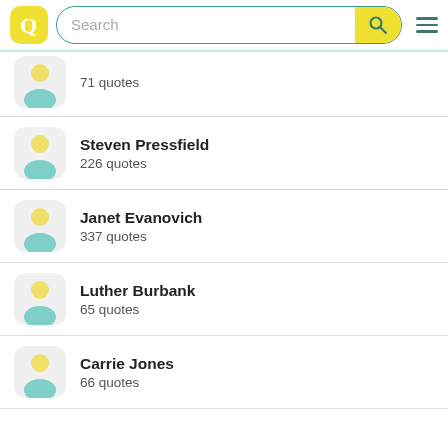Search bar with logo
71 quotes
Steven Pressfield — 226 quotes
Janet Evanovich — 337 quotes
Luther Burbank — 65 quotes
Carrie Jones — 66 quotes